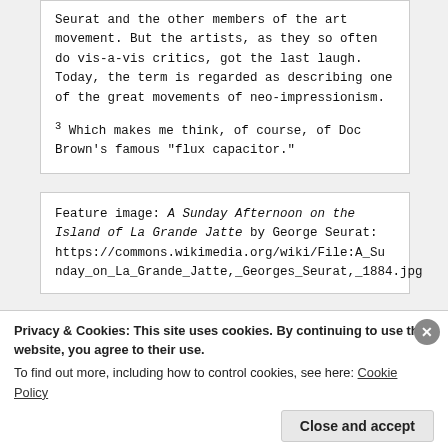Seurat and the other members of the art movement. But the artists, as they so often do vis-a-vis critics, got the last laugh. Today, the term is regarded as describing one of the great movements of neo-impressionism.
3 Which makes me think, of course, of Doc Brown's famous "flux capacitor."
Feature image: A Sunday Afternoon on the Island of La Grande Jatte by George Seurat: https://commons.wikimedia.org/wiki/File:A_Sunday_on_La_Grande_Jatte,_Georges_Seurat,_1884.jpg
Privacy & Cookies: This site uses cookies. By continuing to use this website, you agree to their use.
To find out more, including how to control cookies, see here: Cookie Policy